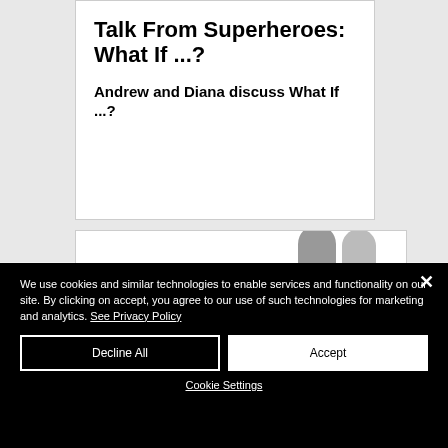Talk From Superheroes: What If ...?
Andrew and Diana discuss What If ...?
[Figure (photo): Partial view of two people's heads (silhouettes) at the bottom of a card, partially cropped]
We use cookies and similar technologies to enable services and functionality on our site. By clicking on accept, you agree to our use of such technologies for marketing and analytics. See Privacy Policy
Decline All
Accept
Cookie Settings